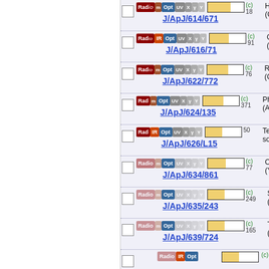J/ApJ/614/671
J/ApJ/616/71
J/ApJ/622/772
J/ApJ/624/135
J/ApJ/626/L15
J/ApJ/634/861
J/ApJ/635/243
J/ApJ/639/724